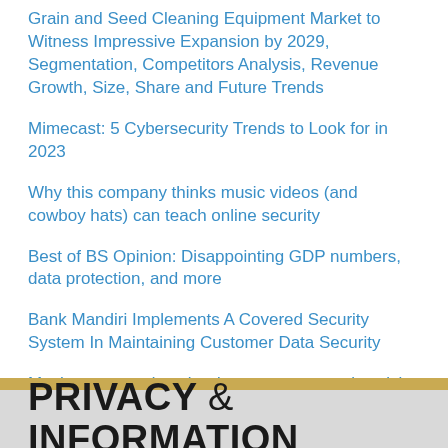Grain and Seed Cleaning Equipment Market to Witness Impressive Expansion by 2029, Segmentation, Competitors Analysis, Revenue Growth, Size, Share and Future Trends
Mimecast: 5 Cybersecurity Trends to Look for in 2023
Why this company thinks music videos (and cowboy hats) can teach online security
Best of BS Opinion: Disappointing GDP numbers, data protection, and more
Bank Mandiri Implements A Covered Security System In Maintaining Customer Data Security
Much more needs to be done to prevent cyber risks
PRIVACY & INFORMATION